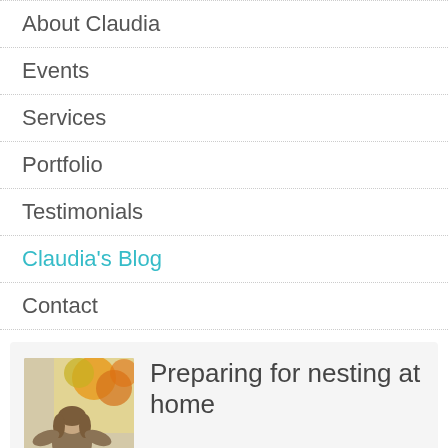About Claudia
Events
Services
Portfolio
Testimonials
Claudia's Blog
Contact
Preparing for nesting at home
September feels like the start of a new year whether dealing with a school schedule or not. My family's back to school days have ended yet it still feels like it's time for a fresh start without the